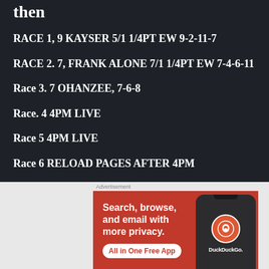then
RACE 1, 9 KAYSER 5/1 1/4PT EW 9-2-11-7
RACE 2. 7, FRANK ALONE 7/1 1/4PT EW 7-4-6-11
Race 3. 7 OHANZEE, 7-6-8
Race. 4 4PM LIVE
Race 5 4PM LIVE
Race 6 RELOAD PAGES AFTER 4PM
[Figure (infographic): DuckDuckGo advertisement banner on orange/red background showing 'Search, browse, and email with more privacy. All in One Free App' with phone mockup showing DuckDuckGo logo]